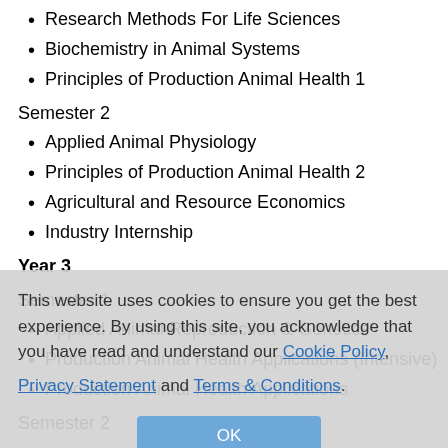Research Methods For Life Sciences
Biochemistry in Animal Systems
Principles of Production Animal Health 1
Semester 2
Applied Animal Physiology
Principles of Production Animal Health 2
Agricultural and Resource Economics
Industry Internship
Year 3
Semester 1
Applied Animal Reproduction & Genetics
Production Animal Health Applications (Intensive)
Production Animal Health Applications
Semester 2